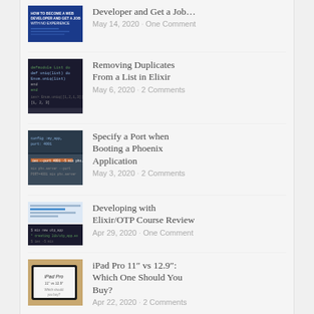Developer and Get a Job...
Removing Duplicates From a List in Elixir
Specify a Port when Booting a Phoenix Application
Developing with Elixir/OTP Course Review
iPad Pro 11″ vs 12.9″: Which One Should You Buy?